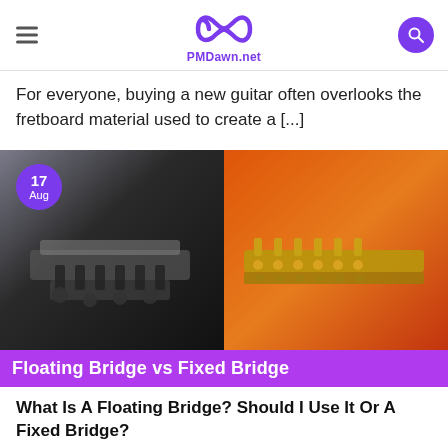PMDawn.net
For everyone, buying a new guitar often overlooks the fretboard material used to create a [...]
[Figure (photo): Split composite photo: left side shows a black-and-white close-up of a floating guitar bridge/tremolo system; right side shows a close-up of a fixed bridge on an orange guitar body. A purple circle date badge shows '17 Aug'. Below the photo is a purple banner reading 'Floating Bridge vs Fixed Bridge'.]
What Is A Floating Bridge? Should I Use It Or A Fixed Bridge?